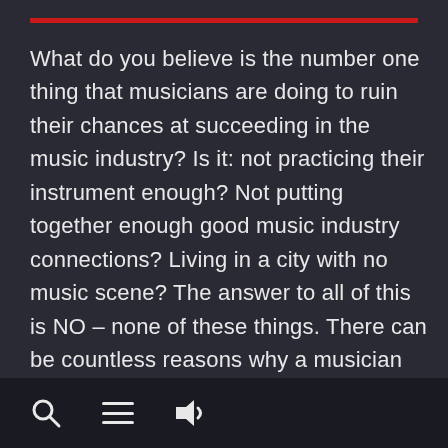What do you believe is the number one thing that musicians are doing to ruin their chances at succeeding in the music industry? Is it: not practicing their instrument enough? Not putting together enough good music industry connections? Living in a city with no music scene? The answer to all of this is NO – none of these things. There can be countless reasons why a musician would fail to make it in the music industry, but the things above